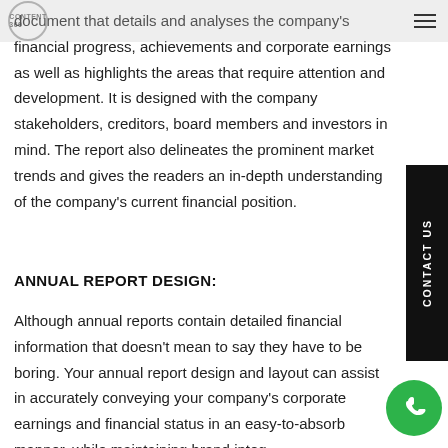CONTENT360
document that details and analyses the company's financial progress, achievements and corporate earnings as well as highlights the areas that require attention and development. It is designed with the company stakeholders, creditors, board members and investors in mind. The report also delineates the prominent market trends and gives the readers an in-depth understanding of the company's current financial position.
ANNUAL REPORT DESIGN:
Although annual reports contain detailed financial information that doesn't mean to say they have to be boring. Your annual report design and layout can assist in accurately conveying your company's corporate earnings and financial status in an easy-to-absorb manner, while maintaining brand integrity